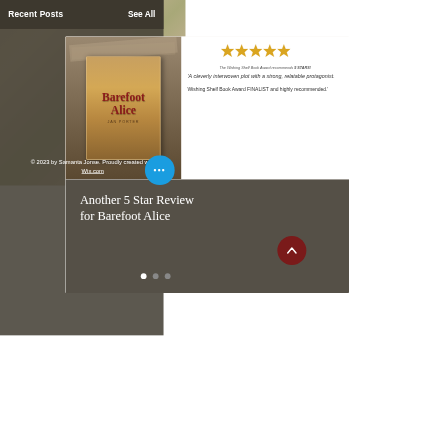Recent Posts   See All
[Figure (photo): Book cover image of 'Barefoot Alice' by Jan Porter displayed on a tablet, held by hands, with books in background. Next to it: five gold stars, 'The Wishing Shelf Book Award recommends 5 STARS!' text, and a review quote.]
Another 5 Star Review for Barefoot Alice
© 2023 by Samanta Jonse. Proudly created with Wix.com